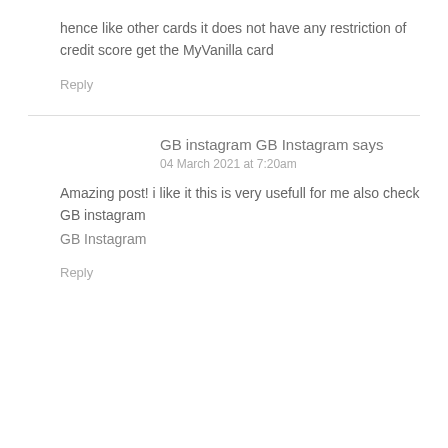hence like other cards it does not have any restriction of credit score get the MyVanilla card
Reply
GB instagram GB Instagram says
04 March 2021 at 7:20am
Amazing post! i like it this is very usefull for me also check GB instagram
GB Instagram
Reply